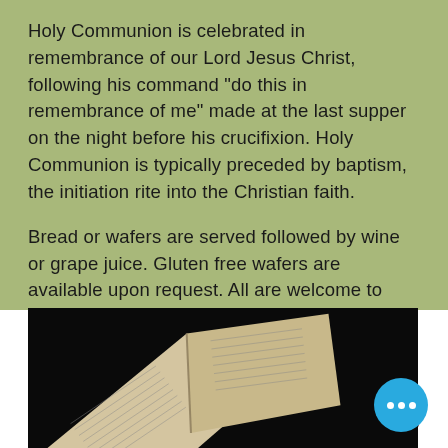Holy Communion is celebrated in remembrance of our Lord Jesus Christ, following his command "do this in remembrance of me" made at the last supper on the night before his crucifixion. Holy Communion is typically preceded by baptism, the initiation rite into the Christian faith.
Bread or wafers are served followed by wine or grape juice. Gluten free wafers are available upon request. All are welcome to partake in Holy Communion regardless of age.
Call us >
[Figure (photo): An open Bible or book with columns of text, photographed against a dark/black background. A blue circular chat bubble with three dots appears in the bottom right corner.]